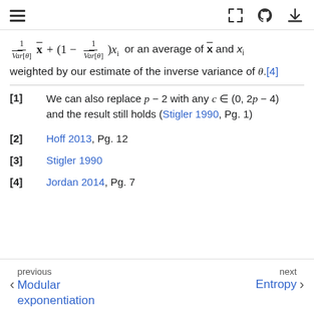[hamburger menu icon] [expand icon] [github icon] [download icon]
weighted by our estimate of the inverse variance of θ.[4]
[1]  We can also replace p − 2 with any c ∈ (0, 2p − 4) and the result still holds (Stigler 1990, Pg. 1)
[2]  Hoff 2013, Pg. 12
[3]  Stigler 1990
[4]  Jordan 2014, Pg. 7
previous ‹ Modular exponentiation  |  next Entropy ›